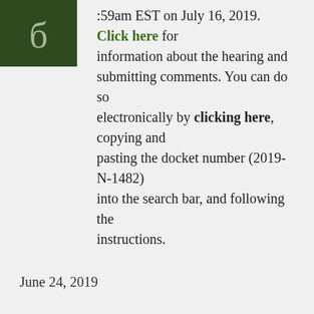[Figure (logo): Dark green square logo box with a stylized letter h in muted sage/grey color]
59am EST on July 16, 2019. Click here for information about the hearing and submitting comments. You can do so electronically by clicking here, copying and pasting the docket number (2019-N-1482) into the search bar, and following the instructions.
June 24, 2019
Rod Kight is an attorney who represents lawful cannabis businesses. He speaks at cannabis conferences across the country, drafts and presents cannabis legislation to foreign governments, is regularly quoted on cannabis matters in the media, and maintains the Kight on Cannabis legal